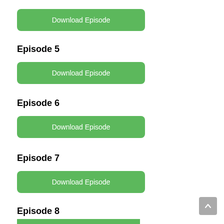[Figure (screenshot): Green 'Download Episode' button at top of page]
Episode 5
[Figure (screenshot): Green 'Download Episode' button for Episode 5]
Episode 6
[Figure (screenshot): Green 'Download Episode' button for Episode 6]
Episode 7
[Figure (screenshot): Green 'Download Episode' button for Episode 7]
Episode 8
[Figure (screenshot): Partially visible green 'Download Episode' button for Episode 8]